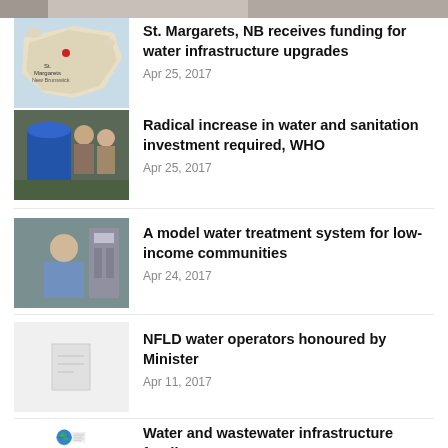[Figure (photo): Top cropped image stub visible at top of page]
[Figure (map): Map of New Brunswick with St. Margarets location marked]
St. Margarets, NB receives funding for water infrastructure upgrades
Apr 25, 2017
[Figure (photo): People working with blue water filtration equipment outdoors]
Radical increase in water and sanitation investment required, WHO
Apr 25, 2017
[Figure (photo): Man in blue shirt near water treatment equipment]
A model water treatment system for low-income communities
Apr 24, 2017
[Figure (photo): Placeholder grey image with document icon]
NFLD water operators honoured by Minister
Apr 11, 2017
[Figure (illustration): Globe illustration with newspaper/news imagery]
Water and wastewater infrastructure funding news